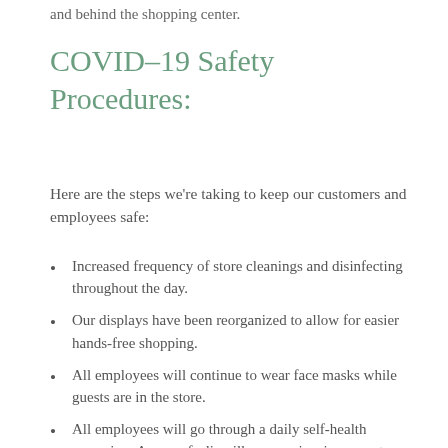and behind the shopping center.
COVID-19 Safety Procedures:
Here are the steps we're taking to keep our customers and employees safe:
Increased frequency of store cleanings and disinfecting throughout the day.
Our displays have been reorganized to allow for easier hands-free shopping.
All employees will continue to wear face masks while guests are in the store.
All employees will go through a daily self-health screening. Anyone feeling ill or experiencing symptoms will be required to stay home from work